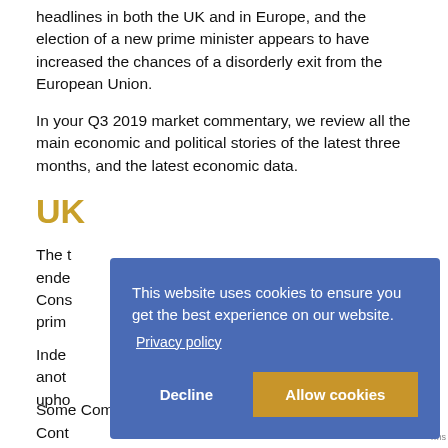headlines in both the UK and in Europe, and the election of a new prime minister appears to have increased the chances of a disorderly exit from the European Union.
In your Q3 2019 market commentary, we review all the main economic and political stories of the latest three months, and the latest economic data.
UK
The t[runcated]... ende[d]... Cons[ervative]... prim[e minister]...
Inde[x]... anot[her]... upho[ldable]...
Some Comment and footage leading from the forum. Cont...
[Figure (screenshot): Cookie consent banner overlay with blue background, text 'This website uses cookies to ensure you get the best experience on our website.', a Privacy policy link, and two buttons: Decline and Allow cookies.]